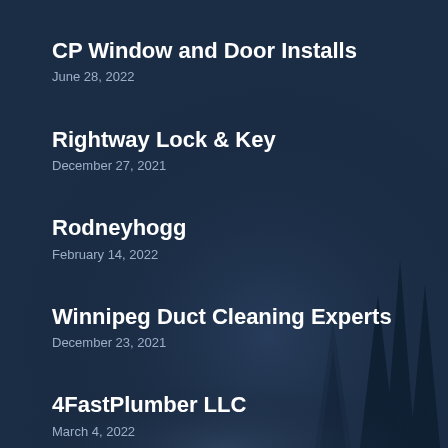CP Window and Door Installs
June 28, 2022
Rightway Lock & Key
December 27, 2021
Rodneyhogg
February 14, 2022
Winnipeg Duct Cleaning Experts
December 23, 2021
4FastPlumber LLC
March 4, 2022